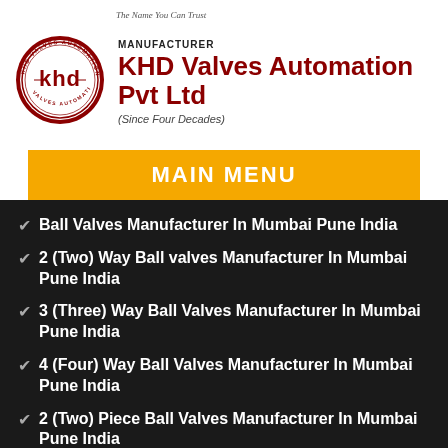[Figure (logo): KHD Valves Automation circular logo with stylized KHD letters inside, surrounded by text KHD VALVES AUTOMATION]
MANUFACTURER
KHD Valves Automation Pvt Ltd
(Since Four Decades)
MAIN MENU
Ball Valves Manufacturer In Mumbai Pune India
2 (Two) Way Ball valves Manufacturer In Mumbai Pune India
3 (Three) Way Ball Valves Manufacturer In Mumbai Pune India
4 (Four) Way Ball Valves Manufacturer In Mumbai Pune India
2 (Two) Piece Ball Valves Manufacturer In Mumbai Pune India
3 (Three) Piece Ball Valves Manufacturer In Mumbai Pune India